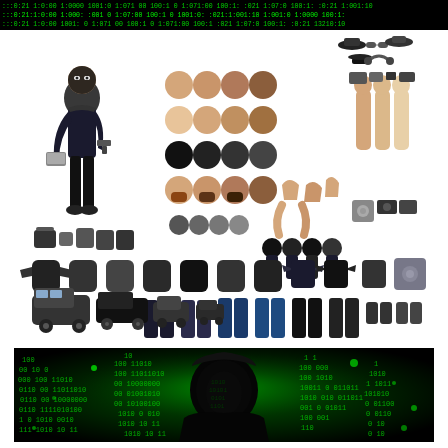[Figure (illustration): Matrix-style green binary/hex code banner on black background at the top of the page]
[Figure (illustration): Character creation sheet showing a burglar/thief character in black outfit with various face options, body parts, clothing items, accessories, vehicles, and equipment arranged in a grid layout on white background]
[Figure (illustration): Dark cybersecurity illustration showing a hooded hacker silhouette surrounded by glowing green binary code numbers on a dark background]